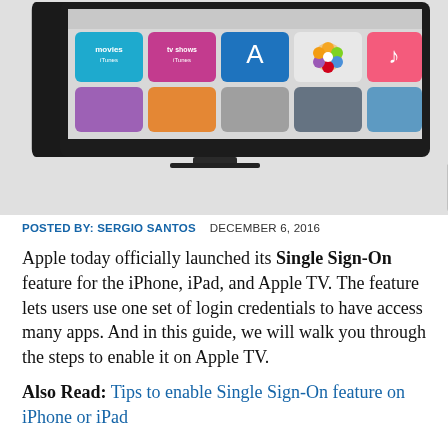[Figure (screenshot): Apple TV interface showing iTunes Movies, TV Shows, App Store, Photos, and Music icons on a large TV screen, with an Apple TV box and Siri Remote on the right side]
POSTED BY: SERGIO SANTOS   DECEMBER 6, 2016
Apple today officially launched its Single Sign-On feature for the iPhone, iPad, and Apple TV. The feature lets users use one set of login credentials to have access many apps. And in this guide, we will walk you through the steps to enable it on Apple TV.
Also Read: Tips to enable Single Sign-On feature on iPhone or iPad
Before getting started, make sure you have updated to the latest version of tvOS. Also, you will need to check if your TV provider supports Single Sign-On. Here are 9 providers in the U.S.